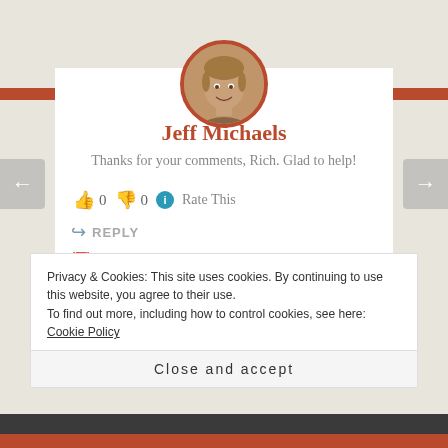[Figure (photo): Circular avatar photo of Jeff Michaels, a man smiling, with an orange/rust colored border]
Jeff Michaels
Thanks for your comments, Rich. Glad to help!
👍 0 👎 0 ℹ Rate This
↪ REPLY
📅 FEBRUARY 16, 2013 AT 7:07 PM
Privacy & Cookies: This site uses cookies. By continuing to use this website, you agree to their use.
To find out more, including how to control cookies, see here: Cookie Policy
Close and accept